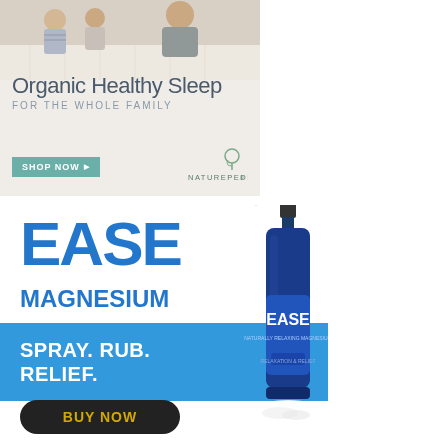[Figure (illustration): Naturepedic advertisement: family sitting on mattress with text 'Organic Healthy Sleep FOR THE WHOLE FAMILY', 'SHOP NOW' button, and Naturepedic logo]
[Figure (illustration): EASE Magnesium spray advertisement: large blue 'EASE' text, 'MAGNESIUM' text, blue band with 'SPRAY. RUB. RELIEF.', product bottle image, and 'BUY NOW' button]